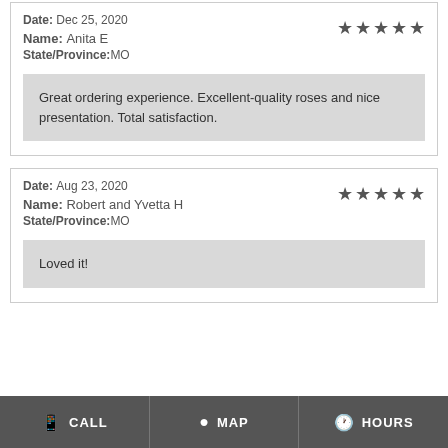Date: Dec 25, 2020
Name: Anita E
State/Province: MO
★★★★★
Great ordering experience. Excellent-quality roses and nice presentation. Total satisfaction.
Date: Aug 23, 2020
Name: Robert and Yvetta H
State/Province: MO
★★★★★
Loved it!
CALL  MAP  HOURS